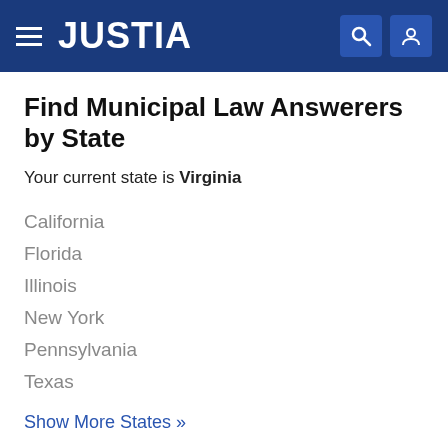JUSTIA
Find Municipal Law Answerers by State
Your current state is Virginia
California
Florida
Illinois
New York
Pennsylvania
Texas
Show More States »